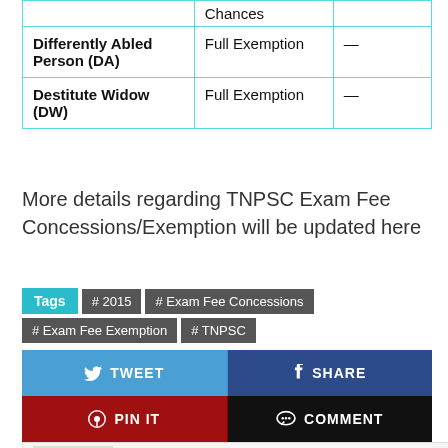| Category | Fee Concession/Chances |  |
| --- | --- | --- |
|  | Chances |  |
| Differently Abled Person (DA) | Full Exemption | — |
| Destitute Widow (DW) | Full Exemption | — |
More details regarding TNPSC Exam Fee Concessions/Exemption will be updated here
Tags  # 2015  # Exam Fee Concessions  # Exam Fee Exemption  # TNPSC
TWEET  SHARE  PIN IT  COMMENT
About Lee